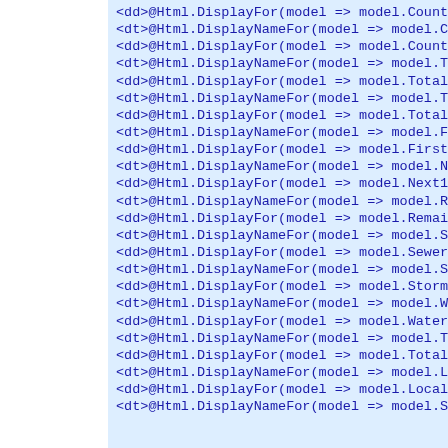[Figure (screenshot): Code snippet showing Razor/ASP.NET HTML helper calls for DisplayFor and DisplayNameFor on various model properties including CounterID, TotalH, TotalG, First, Next10, Remain, SewerC, StormC, WaterU, TotalC, LocalT, and St fields.]